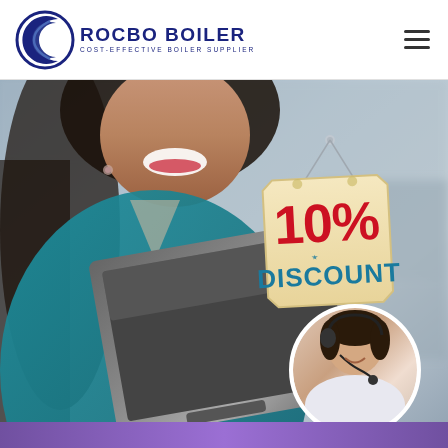[Figure (logo): Rocbo Boiler logo with crescent moon/C shape icon in navy blue, company name ROCBO BOILER in dark navy bold text, subtitle COST-EFFECTIVE BOILER SUPPLIER in small navy caps]
[Figure (photo): Hero banner image: smiling woman in teal jacket holding a laptop, blurred background, with a hanging 10% DISCOUNT tag sign overlaid in the upper right, and a circular customer service representative photo (headset) in the lower right. A purple/violet bar visible at the very bottom edge.]